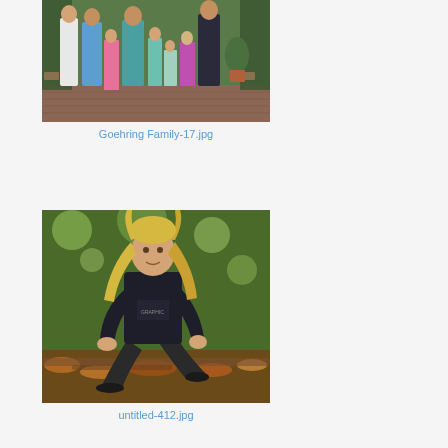[Figure (photo): Family group photo outdoors on brick patio with green foliage background, adults and children dressed in colorful clothes]
Goehring Family-17.jpg
[Figure (photo): Young blonde woman crouching in a wooded outdoor setting with autumn leaves, wearing a dark sweatshirt and dark pants]
untitled-412.jpg